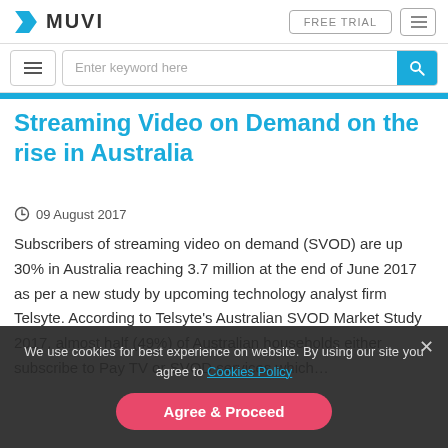MUVI — FREE TRIAL navigation and search bar
Streaming Video on Demand on the rise in Australia
09 August 2017
Subscribers of streaming video on demand (SVOD) are up 30% in Australia reaching 3.7 million at the end of June 2017 as per a new study by upcoming technology analyst firm Telsyte. According to Telsyte's Australian SVOD Market Study 2017, almost half (49%) of Australian households either subscribe to Pay TV or SVOD services which...
We use cookies for best experience on website. By using our site you agree to Cookies Policy   Agree & Proceed